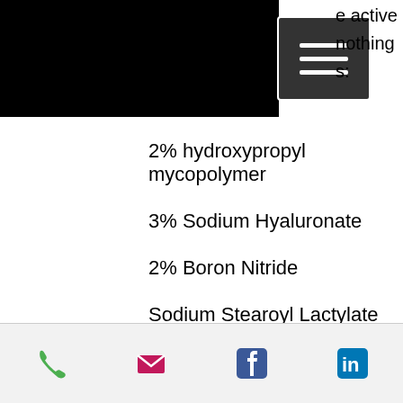[Figure (screenshot): Black header image with menu/hamburger icon button overlay, and partial text reading 'e active', 'nothing', 's:' at top right]
2% hydroxypropyl mycopolymer
3% Sodium Hyaluronate
2% Boron Nitride
Sodium Stearoyl Lactylate
2% Sodium Citrate
Glycerin
Water
2g Sodium Citrate
Phone | Email | Facebook | LinkedIn